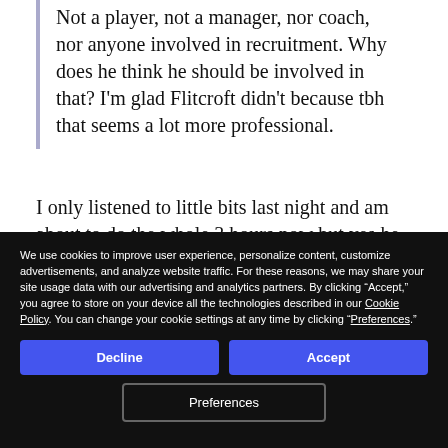Not a player, not a manager, nor coach, nor anyone involved in recruitment. Why does he think he should be involved in that? I'm glad Flitcroft didn't because tbh that seems a lot more professional.
I only listened to little bits last night and am about to do the whole 3 hours now but yes he did. He was complaining they didn't ask him "what needs doing? Who's a good player?" when
We use cookies to improve user experience, personalize content, customize advertisements, and analyze website traffic. For these reasons, we may share your site usage data with our advertising and analytics partners. By clicking "Accept," you agree to store on your device all the technologies described in our Cookie Policy. You can change your cookie settings at any time by clicking "Preferences."